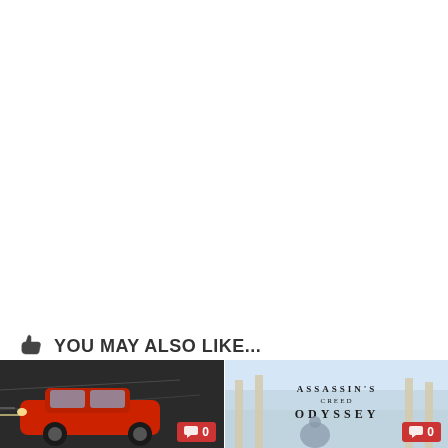YOU MAY ALSO LIKE...
[Figure (photo): Thumbnail of a red car in motion with a comment badge showing 0 comments]
[Figure (photo): Thumbnail of Assassin's Creed Odyssey game artwork with a comment badge showing 0 comments]